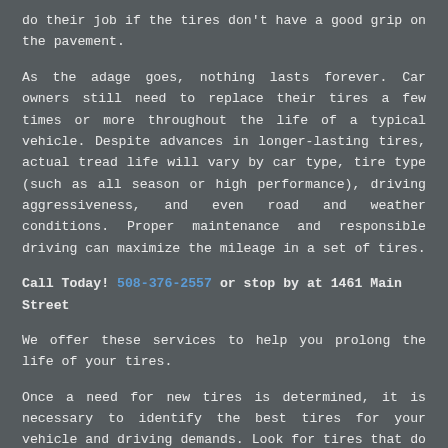do their job if the tires don't have a good grip on the pavement.
As the adage goes, nothing lasts forever. Car owners still need to replace their tires a few times or more throughout the life of a typical vehicle. Despite advances in longer-lasting tires, actual tread life will vary by car type, tire type (such as all season or high performance), driving aggressiveness, and even road and weather conditions. Proper maintenance and responsible driving can maximize the mileage in a set of tires.
Call Today! 508-376-2557 or stop by at 1461 Main Street
We offer these services to help you prolong the life of your tires.
Once a need for new tires is determined, it is necessary to identify the best tires for your vehicle and driving demands. Look for tires that do well in tests for braking, handling, and resistance to hydroplaning. Winter traction should also be considered, if applicable. Let tread wear, ride comfort, noise, and rolling resistance be tiebreakers. Trust the